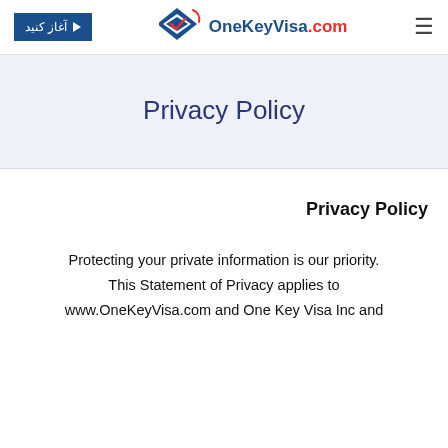[Figure (logo): OneKeyVisa.com logo with diamond key icon and play button for Persian start button]
Privacy Policy
Privacy Policy
Protecting your private information is our priority. This Statement of Privacy applies to www.OneKeyVisa.com and One Key Visa Inc and